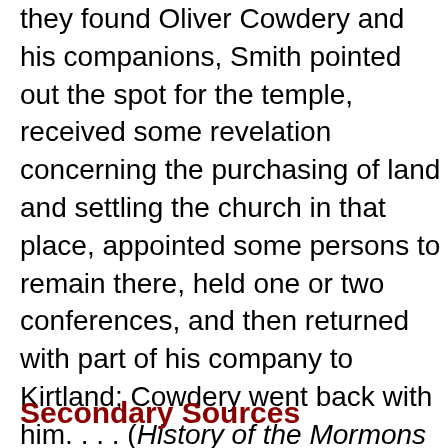they found Oliver Cowdery and his companions, Smith pointed out the spot for the temple, received some revelation concerning the purchasing of land and settling the church in that place, appointed some persons to remain there, held one or two conferences, and then returned with part of his company to Kirtland; Cowdery went back with him. . . . (History of the Mormons (1839), p.18)
Secondary Sources